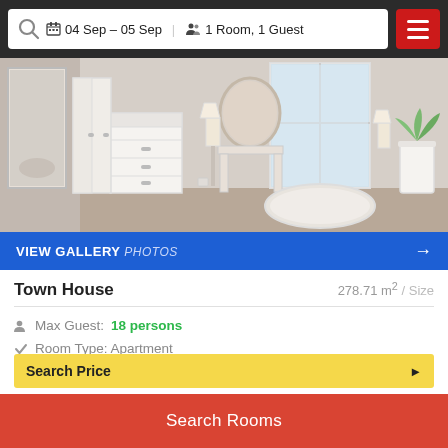04 Sep - 05 Sep  1 Room, 1 Guest
[Figure (photo): Interior photo of a hotel/apartment room showing white dresser, mirror, lamps, bathtub, and plant]
VIEW GALLERY PHOTOS →
Town House
278.71 m² / Size
Max Guest: 18 persons
Room Type: Apartment
1 large double bed
Search Price ▶
Search Rooms